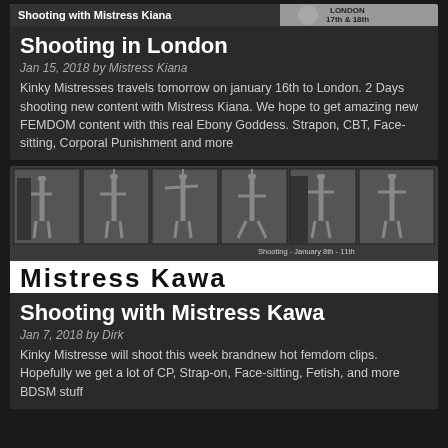[Figure (photo): Banner image for Shooting with Mistress Kiana, London 17th & 18th]
Shooting in London
Jan 15, 2018 by Mistress Kiana
Kinky Mistresses travels tomorrow on january 16th to London. 2 Days shooting new content with Mistress Kiana. We hope to get amazing new FEMDOM content with this real Ebony Goddess. Strapon, CBT, Face-sitting, Corporal Punishment and more
[Figure (photo): Six-panel photo collage with Mistress Kawa - Shooting January 8th - 11th]
Shooting with Mistress Kawa
Jan 7, 2018 by Dirk
Kinky Mistresse will shoot this week brandnew hot femdom clips. Hopefully we get a lot of CP, Strap-on, Face-sitting, Fetish, and more BDSM stuff